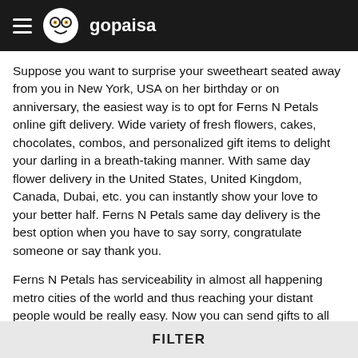gopaisa
Suppose you want to surprise your sweetheart seated away from you in New York, USA on her birthday or on anniversary, the easiest way is to opt for Ferns N Petals online gift delivery. Wide variety of fresh flowers, cakes, chocolates, combos, and personalized gift items to delight your darling in a breath-taking manner. With same day flower delivery in the United States, United Kingdom, Canada, Dubai, etc. you can instantly show your love to your better half. Ferns N Petals same day delivery is the best option when you have to say sorry, congratulate someone or say thank you.
Ferns N Petals has serviceability in almost all happening metro cities of the world and thus reaching your distant people would be really easy. Now you can send gifts to all major countries like USA, UK, Canada, Australia, New Zealand, UAE, Germany, Philippines, and Singapore etc from India for all major occasions and normal ones like birthdays, anniversaries etc. FNP packs your emotions of love
FILTER